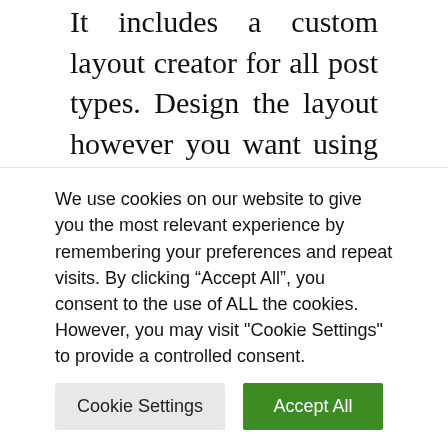It includes a custom layout creator for all post types. Design the layout however you want using the the Visual Composer drag and drop page builder plugin. It includes an advanced option panel to customize the site. It includes Google fonts. It’s 100% responsive and Retina ready. You can choose your content width and add scalable vector icons.
To learn more about this theme, visit this site:
We use cookies on our website to give you the most relevant experience by remembering your preferences and repeat visits. By clicking “Accept All”, you consent to the use of ALL the cookies. However, you may visit "Cookie Settings" to provide a controlled consent.